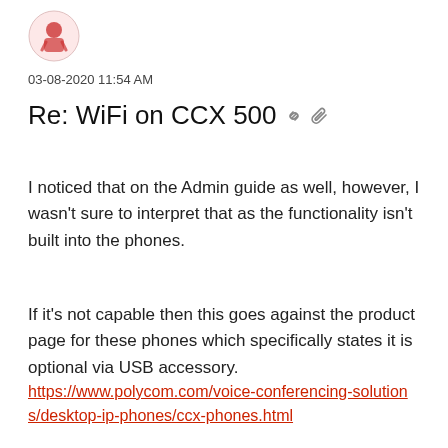[Figure (illustration): Small red avatar icon of a person/character in top-left]
03-08-2020 11:54 AM
Re: WiFi on CCX 500
I noticed that on the Admin guide as well, however, I wasn't sure to interpret that as the functionality isn't built into the phones.
If it's not capable then this goes against the product page for these phones which specifically states it is optional via USB accessory.
https://www.polycom.com/voice-conferencing-solutions/desktop-ip-phones/ccx-phones.html